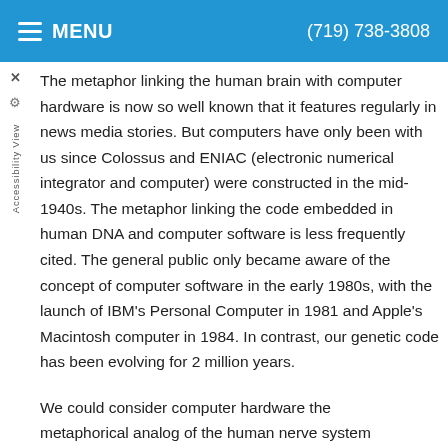MENU  (719) 738-3808
The metaphor linking the human brain with computer hardware is now so well known that it features regularly in news media stories. But computers have only been with us since Colossus and ENIAC (electronic numerical integrator and computer) were constructed in the mid-1940s. The metaphor linking the code embedded in human DNA and computer software is less frequently cited. The general public only became aware of the concept of computer software in the early 1980s, with the launch of IBM's Personal Computer in 1981 and Apple's Macintosh computer in 1984. In contrast, our genetic code has been evolving for 2 million years.
We could consider computer hardware the metaphorical analog of the human nerve system